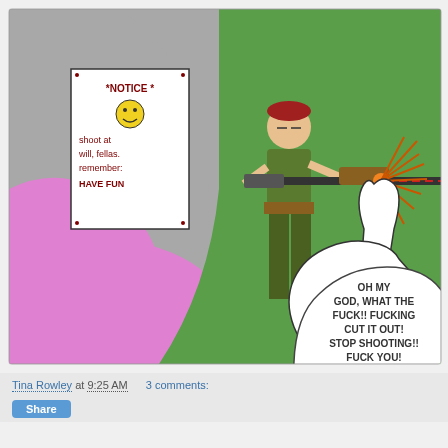[Figure (illustration): A hand-drawn digital comic showing a person in military-style green clothes holding a rifle and shooting at a figure on the right side (green background with pink circular divider and grey area). A notice sign in upper left reads: *NOTICE* shoot at will, fellas. remember: HAVE FUN (with a smiley face). A speech bubble from the figure being shot says: OH MY GOD, WHAT THE FUCK!! FUCKING CUT IT OUT! STOP SHOOTING!! FUCK YOU! OW! OW!!]
Tina Rowley at 9:25 AM   3 comments:
Share